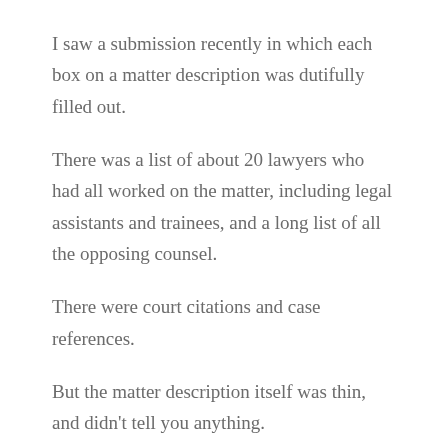I saw a submission recently in which each box on a matter description was dutifully filled out.
There was a list of about 20 lawyers who had all worked on the matter, including legal assistants and trainees, and a long list of all the opposing counsel.
There were court citations and case references.
But the matter description itself was thin, and didn't tell you anything.
Creating an overall impression is more